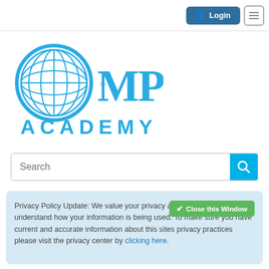Login  ☰
[Figure (logo): MPI Academy logo — blue globe icon with MPI text and ACADEMY below in blue]
Search
Privacy Policy Update: We value your privacy and want you to understand how your information is being used. To make sure you have current and accurate information about this sites privacy practices please visit the privacy center by clicking here.